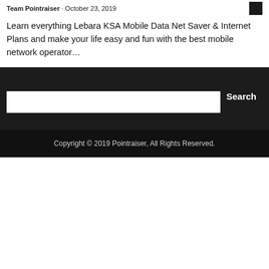Team Pointraiser · October 23, 2019
Learn everything Lebara KSA Mobile Data Net Saver & Internet Plans and make your life easy and fun with the best mobile network operator…
Search
Copyright © 2019 Pointraiser, All Rights Reserved.